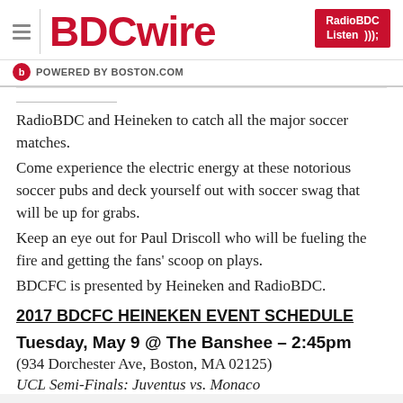BDCwire — POWERED BY BOSTON.COM — RadioBDC Listen
RadioBDC and Heineken to catch all the major soccer matches.
Come experience the electric energy at these notorious soccer pubs and deck yourself out with soccer swag that will be up for grabs.
Keep an eye out for Paul Driscoll who will be fueling the fire and getting the fans' scoop on plays.
BDCFC is presented by Heineken and RadioBDC.
2017 BDCFC HEINEKEN EVENT SCHEDULE
Tuesday, May 9 @ The Banshee – 2:45pm
(934 Dorchester Ave, Boston, MA 02125)
UCL Semi-Finals: Juventus vs. Monaco